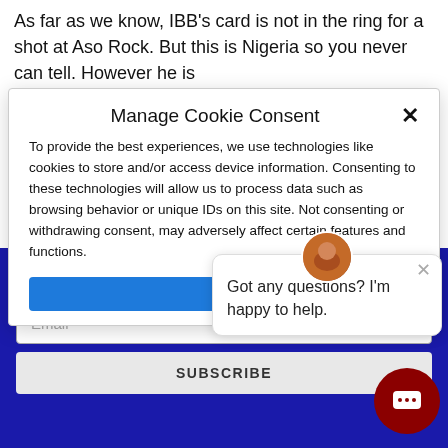As far as we know, IBB's card is not in the ring for a shot at Aso Rock. But this is Nigeria so you never can tell. However he is
Manage Cookie Consent
To provide the best experiences, we use technologies like cookies to store and/or access device information. Consenting to these technologies will allow us to process data such as browsing behavior or unique IDs on this site. Not consenting or withdrawing consent, may adversely affect certain features and functions.
Get more Value, R
Free Canva, & Five
Email
SUBSCRIBE
Got any questions? I'm happy to help.